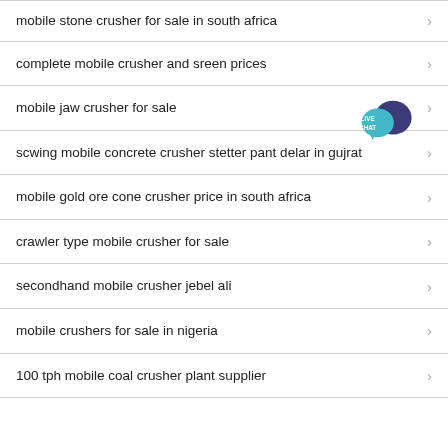mobile stone crusher for sale in south africa
complete mobile crusher and sreen prices
mobile jaw crusher for sale
scwing mobile concrete crusher stetter pant delar in gujrat
mobile gold ore cone crusher price in south africa
crawler type mobile crusher for sale
secondhand mobile crusher jebel ali
mobile crushers for sale in nigeria
100 tph mobile coal crusher plant supplier